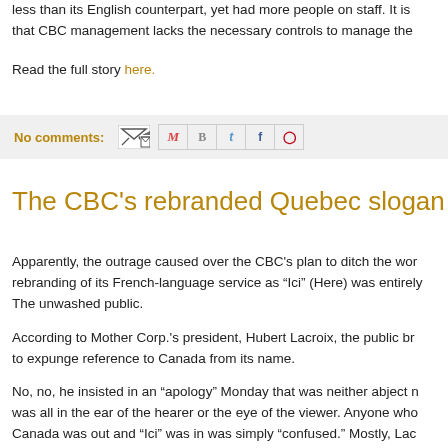less than its English counterpart, yet had more people on staff. It is that CBC management lacks the necessary controls to manage the
Read the full story here.
No comments:
The CBC's rebranded Quebec slogan
Apparently, the outrage caused over the CBC's plan to ditch the word rebranding of its French-language service as “Ici” (Here) was entirely The unwashed public.
According to Mother Corp.'s president, Hubert Lacroix, the public br to expunge reference to Canada from its name.
No, no, he insisted in an “apology” Monday that was neither abject n was all in the ear of the hearer or the eye of the viewer. Anyone who Canada was out and “Ici” was in was simply “confused.” Mostly, Lac many Canadians were idiots.
Despite an elaborate rollout campaign, including high-priced ads s